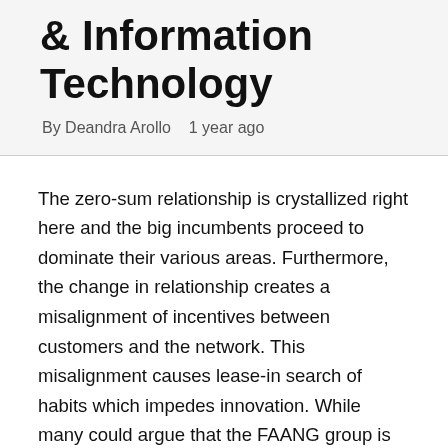& Information Technology
By Deandra Arollo   1 year ago
The zero-sum relationship is crystallized right here and the big incumbents proceed to dominate their various areas. Furthermore, the change in relationship creates a misalignment of incentives between customers and the network. This misalignment causes lease-in search of habits which impedes innovation. While many could argue that the FAANG group is extremely revolutionary Computer , these improvements are spurred by target of extracting as much lease as potential